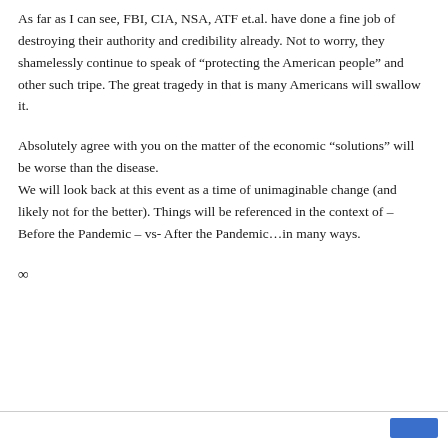As far as I can see, FBI, CIA, NSA, ATF et.al. have done a fine job of destroying their authority and credibility already. Not to worry, they shamelessly continue to speak of “protecting the American people” and other such tripe. The great tragedy in that is many Americans will swallow it.
Absolutely agree with you on the matter of the economic “solutions” will be worse than the disease.
We will look back at this event as a time of unimaginable change (and likely not for the better). Things will be referenced in the context of – Before the Pandemic – vs- After the Pandemic…in many ways.
∞